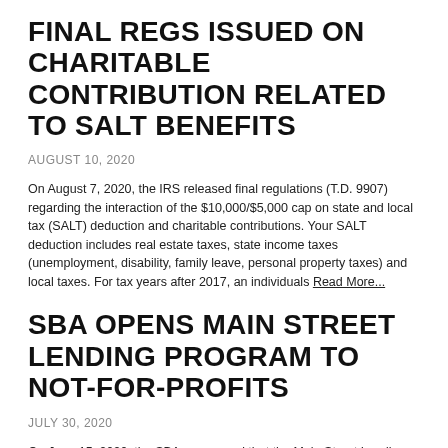FINAL REGS ISSUED ON CHARITABLE CONTRIBUTION RELATED TO SALT BENEFITS
AUGUST 10, 2020
On August 7, 2020, the IRS released final regulations (T.D. 9907) regarding the interaction of the $10,000/$5,000 cap on state and local tax (SALT) deduction and charitable contributions. Your SALT deduction includes real estate taxes, state income taxes (unemployment, disability, family leave, personal property taxes) and local taxes. For tax years after 2017, an individuals Read More...
SBA OPENS MAIN STREET LENDING PROGRAM TO NOT-FOR-PROFITS
JULY 30, 2020
On June 15, 2020, the SBA announced that the Main Street Lending Program portal is now open.  The Main Street Program provides additional funding to small and mid-size businesses, and Not-for-Profit Organizations, with relaxed